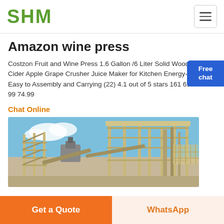SHM
Amazon wine press
Costzon Fruit and Wine Press 1.6 Gallon /6 Liter Solid Wood Basket Cider Apple Grape Crusher Juice Maker for Kitchen Energy-Saving Easy to Assembly and Carrying (22) 4.1 out of 5 stars 161 69.99 69 . 99 74.99
Chat Online
[Figure (photo): Industrial mining/crushing machinery with metal structures, conveyors, and pipes against a blue sky background.]
Get a Quote
WhatsApp